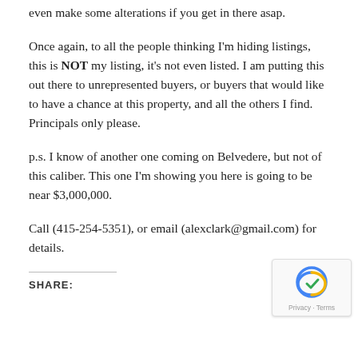even make some alterations if you get in there asap.
Once again, to all the people thinking I'm hiding listings, this is NOT my listing, it's not even listed. I am putting this out there to unrepresented buyers, or buyers that would like to have a chance at this property, and all the others I find. Principals only please.
p.s. I know of another one coming on Belvedere, but not of this caliber. This one I'm showing you here is going to be near $3,000,000.
Call (415-254-5351), or email (alexclark@gmail.com) for details.
SHARE: